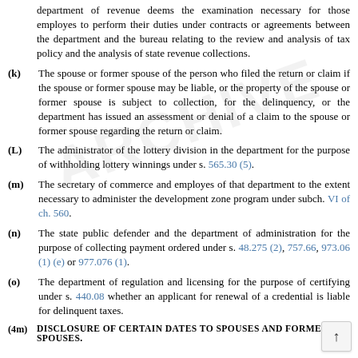department of revenue deems the examination necessary for those employes to perform their duties under contracts or agreements between the department and the bureau relating to the review and analysis of tax policy and the analysis of state revenue collections.
(k) The spouse or former spouse of the person who filed the return or claim if the spouse or former spouse may be liable, or the property of the spouse or former spouse is subject to collection, for the delinquency, or the department has issued an assessment or denial of a claim to the spouse or former spouse regarding the return or claim.
(L) The administrator of the lottery division in the department for the purpose of withholding lottery winnings under s. 565.30 (5).
(m) The secretary of commerce and employes of that department to the extent necessary to administer the development zone program under subch. VI of ch. 560.
(n) The state public defender and the department of administration for the purpose of collecting payment ordered under s. 48.275 (2), 757.66, 973.06 (1) (e) or 977.076 (1).
(o) The department of regulation and licensing for the purpose of certifying under s. 440.08 whether an applicant for renewal of a credential is liable for delinquent taxes.
(4m) Disclosure of certain dates to spouses and former spouses.